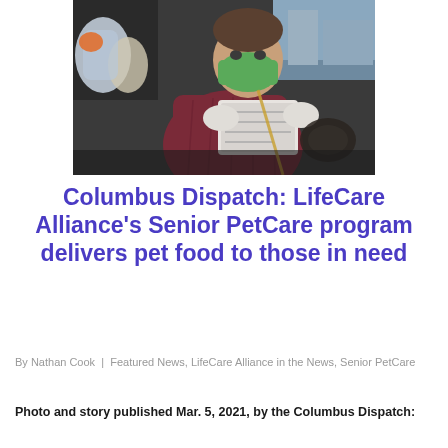[Figure (photo): Person wearing a green face mask and maroon puffer jacket sitting in a car, looking at a clipboard/tablet, with bags of supplies in the back seat.]
Columbus Dispatch: LifeCare Alliance's Senior PetCare program delivers pet food to those in need
By Nathan Cook | Featured News, LifeCare Alliance in the News, Senior PetCare
Photo and story published Mar. 5, 2021, by the Columbus Dispatch: